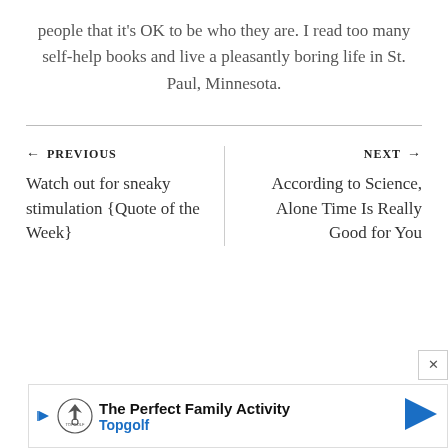people that it's OK to be who they are. I read too many self-help books and live a pleasantly boring life in St. Paul, Minnesota.
← PREVIOUS
Watch out for sneaky stimulation {Quote of the Week}
NEXT →
According to Science, Alone Time Is Really Good for You
[Figure (other): Advertisement banner for Topgolf: 'The Perfect Family Activity' with Topgolf logo and navigation arrow icon]